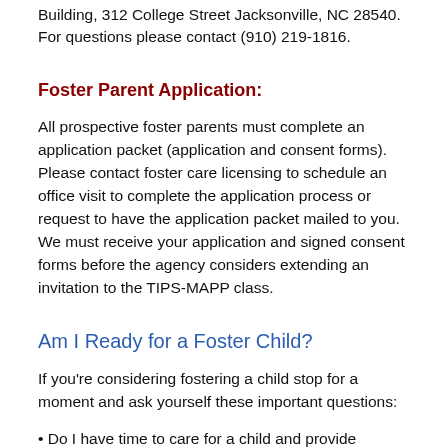Building, 312 College Street Jacksonville, NC 28540. For questions please contact (910) 219-1816.
Foster Parent Application:
All prospective foster parents must complete an application packet (application and consent forms). Please contact foster care licensing to schedule an office visit to complete the application process or request to have the application packet mailed to you. We must receive your application and signed consent forms before the agency considers extending an invitation to the TIPS-MAPP class.
Am I Ready for a Foster Child?
If you're considering fostering a child stop for a moment and ask yourself these important questions:
• Do I have time to care for a child and provide physical, emotional, educational and spiritual needs?